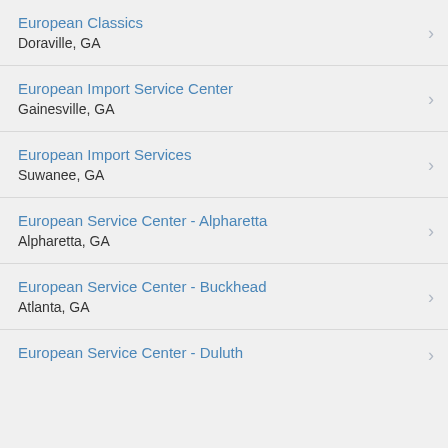European Classics
Doraville, GA
European Import Service Center
Gainesville, GA
European Import Services
Suwanee, GA
European Service Center - Alpharetta
Alpharetta, GA
European Service Center - Buckhead
Atlanta, GA
European Service Center - Duluth